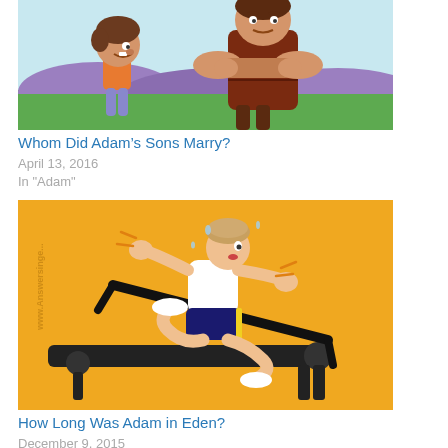[Figure (illustration): Cartoon illustration of a young boy and a large man with arms crossed, standing on a green field with purple hills in the background.]
Whom Did Adam's Sons Marry?
April 13, 2016
In "Adam"
[Figure (illustration): Cartoon illustration of a person running energetically on a treadmill, on an orange/yellow background. Watermark: www.Answers]
How Long Was Adam in Eden?
December 9, 2015